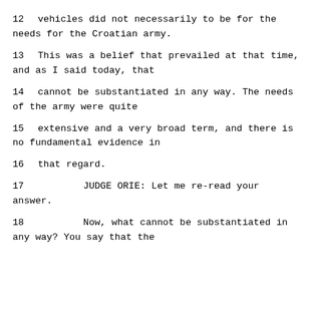12     vehicles did not necessarily to be for the needs for the Croatian army.
13     This was a belief that prevailed at that time, and as I said today, that
14     cannot be substantiated in any way.  The needs of the army were quite
15     extensive and a very broad term, and there is no fundamental evidence in
16     that regard.
17             JUDGE ORIE:  Let me re-read your answer.
18             Now, what cannot be substantiated in any way?  You say that the